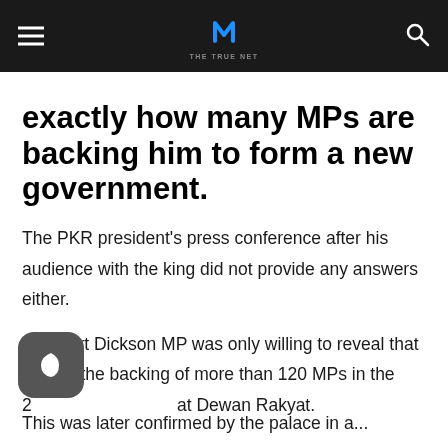THE TRUE NET
exactly how many MPs are backing him to form a new government.
The PKR president's press conference after his audience with the king did not provide any answers either.
The Port Dickson MP was only willing to reveal that he had the backing of more than 120 MPs in the 222-seat Dewan Rakyat.
This was later confirmed by the palace in a...